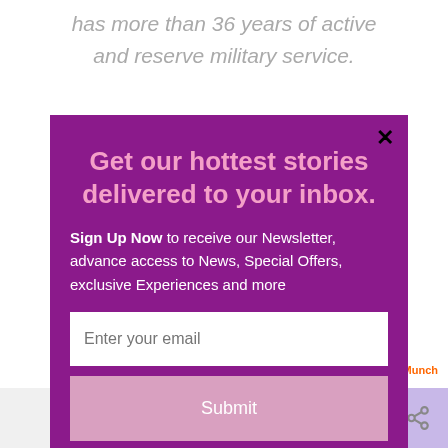has more than 36 years of active and reserve military service.
Daniels holds a B.S. in Applied from Carnegie (Computer Science), from Carnegie Mellon University; a M.S. and Ph.D. in Computer
[Figure (screenshot): Modal popup with purple background: 'Get our hottest stories delivered to your inbox.' Sign Up Now form with email input and Submit button. Close X button top right. Powered by MailMunch.]
We'll assume you're ok with this, but you can opt-out if
[Figure (infographic): Social share bar at bottom with Facebook, Twitter, Email, Pinterest, LinkedIn icons and an active share icon highlighted in light purple]